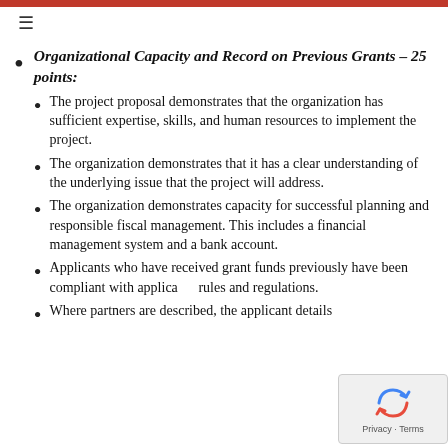≡
Organizational Capacity and Record on Previous Grants – 25 points:
The project proposal demonstrates that the organization has sufficient expertise, skills, and human resources to implement the project.
The organization demonstrates that it has a clear understanding of the underlying issue that the project will address.
The organization demonstrates capacity for successful planning and responsible fiscal management. This includes a financial management system and a bank account.
Applicants who have received grant funds previously have been compliant with applicable rules and regulations.
Where partners are described, the applicant details